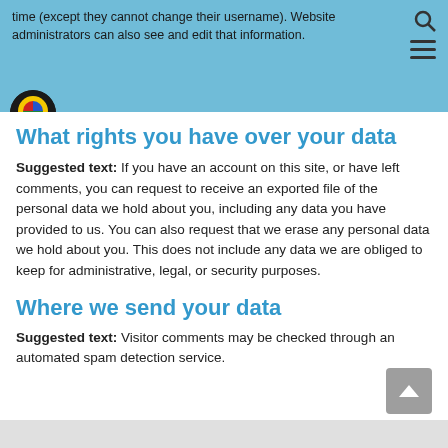time (except they cannot change their username). Website administrators can also see and edit that information.
What rights you have over your data
Suggested text: If you have an account on this site, or have left comments, you can request to receive an exported file of the personal data we hold about you, including any data you have provided to us. You can also request that we erase any personal data we hold about you. This does not include any data we are obliged to keep for administrative, legal, or security purposes.
Where we send your data
Suggested text: Visitor comments may be checked through an automated spam detection service.